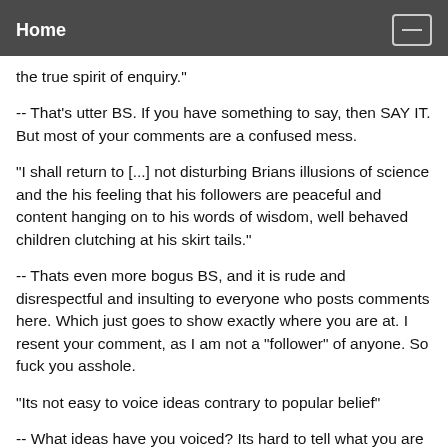Home
the true spirit of enquiry."
-- That's utter BS. If you have something to say, then SAY IT. But most of your comments are a confused mess.
"I shall return to [...] not disturbing Brians illusions of science and the his feeling that his followers are peaceful and content hanging on to his words of wisdom, well behaved children clutching at his skirt tails."
-- Thats even more bogus BS, and it is rude and disrespectful and insulting to everyone who posts comments here. Which just goes to show exactly where you are at. I resent your comment, as I am not a "follower" of anyone. So fuck you asshole.
"Its not easy to voice ideas contrary to popular belief"
-- What ideas have you voiced? Its hard to tell what you are actually trying to say, much less in any coherent fashion.
"Brian [...] I do not agree with his [...] put down those who